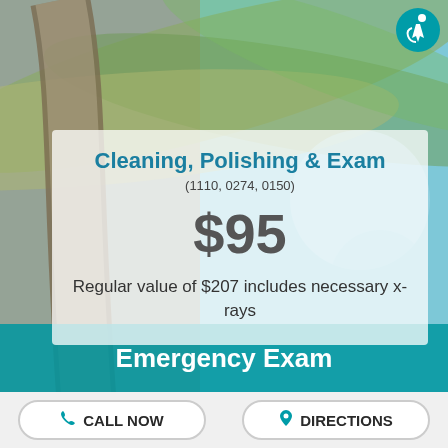[Figure (photo): Palm tree background photo viewed from below against blue sky]
Cleaning, Polishing & Exam
(1110, 0274, 0150)
$95
Regular value of $207 includes necessary x-rays
Emergency Exam
CALL NOW
DIRECTIONS